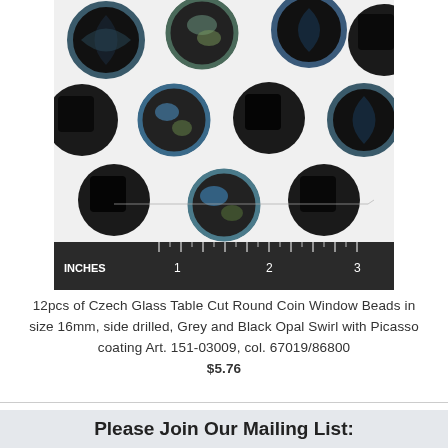[Figure (photo): Photograph of 12 Czech glass table cut round coin window beads in grey and black opal swirl with Picasso coating, arranged on a white surface with a ruler showing approximately 3 inches at the bottom.]
12pcs of Czech Glass Table Cut Round Coin Window Beads in size 16mm, side drilled, Grey and Black Opal Swirl with Picasso coating Art. 151-03009, col. 67019/86800 $5.76
Please Join Our Mailing List: